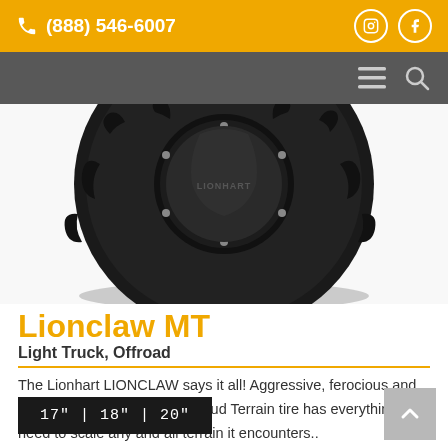(888) 546-6007
[Figure (photo): Close-up photo of a Lionclaw MT off-road mud terrain tire with aggressive tread pattern and black rim, viewed from above/front angle on white background]
Lionclaw MT
Light Truck, Offroad
The Lionhart LIONCLAW says it all! Aggressive, ferocious and relentless, this exciting new Mud Terrain tire has everything you need to scale any and all terrain it encounters..
17" | 18" | 20"